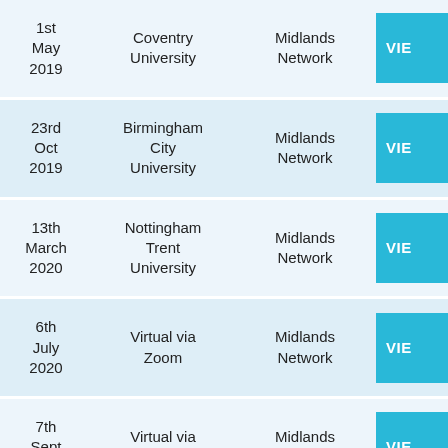| Date | Venue | Network | Link |
| --- | --- | --- | --- |
| 1st May 2019 | Coventry University | Midlands Network | VIEW |
| 23rd Oct 2019 | Birmingham City University | Midlands Network | VIEW |
| 13th March 2020 | Nottingham Trent University | Midlands Network | VIEW |
| 6th July 2020 | Virtual via Zoom | Midlands Network | VIEW |
| 7th Sept 2020 | Virtual via Zoom | Midlands Network | VIEW |